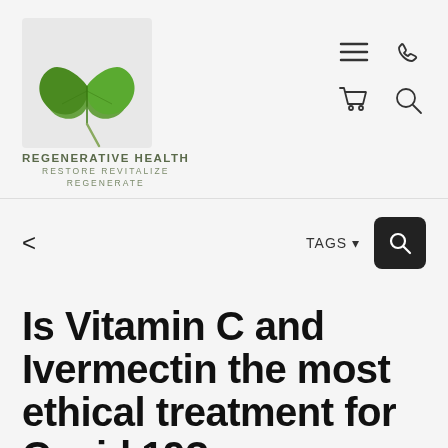[Figure (logo): Regenerative Health logo with green ginkgo leaf illustration and text: REGENERATIVE HEALTH / RESTORE REVITALIZE / REGENERATE]
[Figure (other): Navigation icons: hamburger menu, phone, shopping cart, search magnifier]
[Figure (other): Toolbar with back arrow (<), TAGS dropdown label, and dark search button with magnifier icon]
Is Vitamin C and Ivermectin the most ethical treatment for Covid 19?